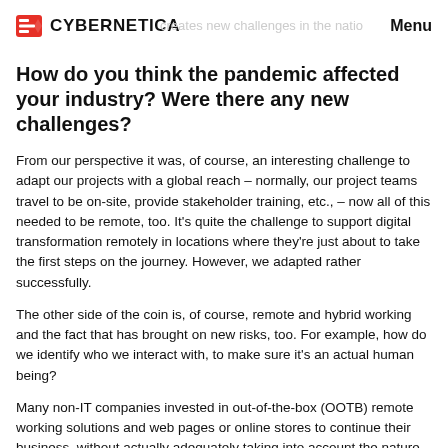CYBERNETICA   Menu
How do you think the pandemic affected your industry? Were there any new challenges?
From our perspective it was, of course, an interesting challenge to adapt our projects with a global reach – normally, our project teams travel to be on-site, provide stakeholder training, etc., – now all of this needed to be remote, too. It's quite the challenge to support digital transformation remotely in locations where they're just about to take the first steps on the journey. However, we adapted rather successfully.
The other side of the coin is, of course, remote and hybrid working and the fact that has brought on new risks, too. For example, how do we identify who we interact with, to make sure it's an actual human being?
Many non-IT companies invested in out-of-the-box (OOTB) remote working solutions and web pages or online stores to continue their business, without actually adequately taking into account the nature of the OOTB solution, their business needs, and associated security & privacy requirements. This can and has resulted in security vulnerabilities. This, in turn, inspired us to start